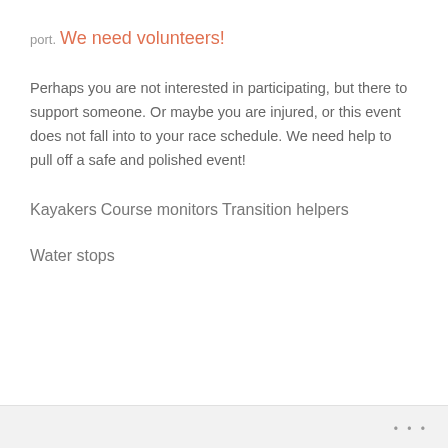port.
We need volunteers!
Perhaps you are not interested in participating, but there to support someone. Or maybe you are injured, or this event does not fall into to your race schedule. We need help to pull off a safe and polished event!
Kayakers
Course monitors
Transition helpers
Water stops
•••